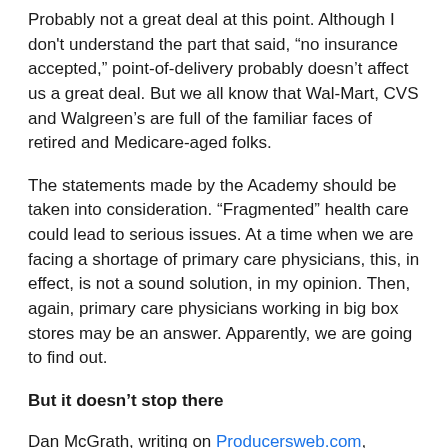Probably not a great deal at this point. Although I don't understand the part that said, “no insurance accepted,” point-of-delivery probably doesn’t affect us a great deal. But we all know that Wal-Mart, CVS and Walgreen’s are full of the familiar faces of retired and Medicare-aged folks.
The statements made by the Academy should be taken into consideration. “Fragmented” health care could lead to serious issues. At a time when we are facing a shortage of primary care physicians, this, in effect, is not a sound solution, in my opinion. Then, again, primary care physicians working in big box stores may be an answer. Apparently, we are going to find out.
But it doesn’t stop there
Dan McGrath, writing on Producersweb.com, reveals another development.